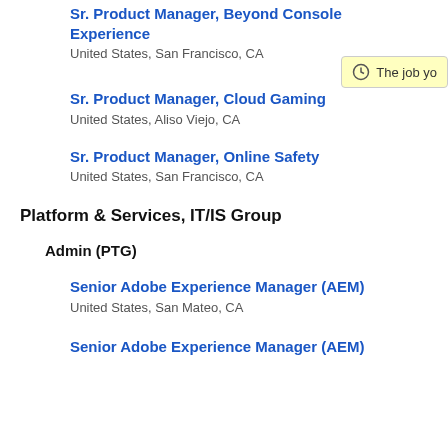Sr. Product Manager, Beyond Console Experience
United States, San Francisco, CA
Sr. Product Manager, Cloud Gaming
United States, Aliso Viejo, CA
Sr. Product Manager, Online Safety
United States, San Francisco, CA
Platform & Services, IT/IS Group
Admin (PTG)
Senior Adobe Experience Manager (AEM)
United States, San Mateo, CA
Senior Adobe Experience Manager (AEM)